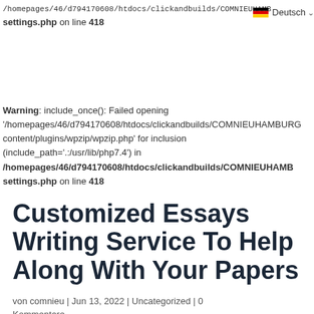/homepages/46/d794170608/htdocs/clickandbuilds/COMNIEUHAMB settings.php on line 418
Warning: include_once(): Failed opening '/homepages/46/d794170608/htdocs/clickandbuilds/COMNIEUHAMBURG content/plugins/wpzip/wpzip.php' for inclusion (include_path='.:/usr/lib/php7.4') in /homepages/46/d794170608/htdocs/clickandbuilds/COMNIEUHAMB settings.php on line 418
Customized Essays Writing Service To Help Along With Your Papers
von comnieu | Jun 13, 2022 | Uncategorized | 0 Kommentare